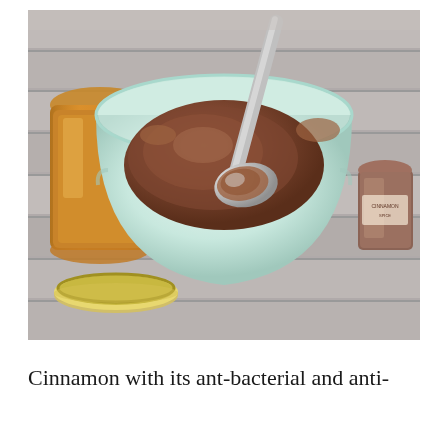[Figure (photo): A light mint-green ceramic bowl containing a brown mixture (honey and cinnamon paste) with a silver spoon resting in it, placed on a gray wooden surface. To the left is a glass jar of honey with its gold lid lying beside it. To the right is a small container of cinnamon spice.]
Cinnamon with its ant-bacterial and anti-